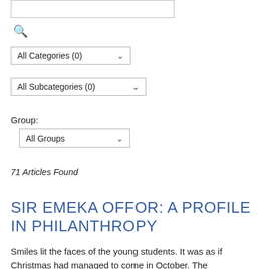[Figure (screenshot): Search input text box (empty)]
[Figure (screenshot): Search icon (magnifying glass)]
[Figure (screenshot): Dropdown selector: All Categories (0)]
[Figure (screenshot): Dropdown selector: All Subcategories (0)]
Group:
[Figure (screenshot): Dropdown selector: All Groups]
71 Articles Found
SIR EMEKA OFFOR: A PROFILE IN PHILANTHROPY
Smiles lit the faces of the young students. It was as if Christmas had managed to come in October. The